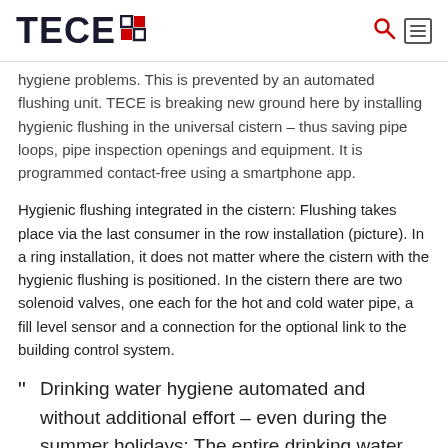TECE
hygiene problems. This is prevented by an automated flushing unit. TECE is breaking new ground here by installing hygienic flushing in the universal cistern – thus saving pipe loops, pipe inspection openings and equipment. It is programmed contact-free using a smartphone app.
Hygienic flushing integrated in the cistern: Flushing takes place via the last consumer in the row installation (picture). In a ring installation, it does not matter where the cistern with the hygienic flushing is positioned. In the cistern there are two solenoid valves, one each for the hot and cold water pipe, a fill level sensor and a connection for the optional link to the building control system.
" Drinking water hygiene automated and without additional effort – even during the summer holidays: The entire drinking water installation is flushed regularly via the nearby toilet cistern. Everything under control thanks to the app for